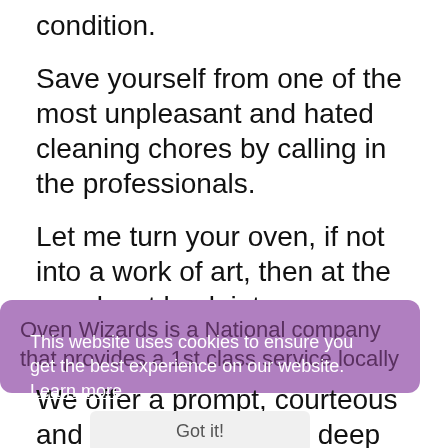condition.
Save yourself from one of the most unpleasant and hated cleaning chores by calling in the professionals.
Let me turn your oven, if not into a work of art, then at the very least back into a showroom condition you can be proud of.
Oven Wizards is a National company that provides a 1st class service locally
This website uses cookies to ensure you get the best experience on our website. Learn more
Got it!
We offer a prompt, courteous and professional oven deep cleaning service, from your initial enquiry through the clean itself, and to any